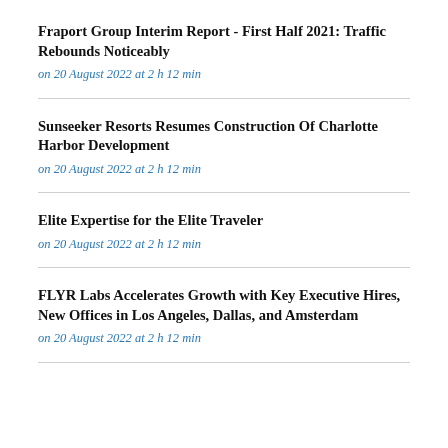Fraport Group Interim Report - First Half 2021: Traffic Rebounds Noticeably
on 20 August 2022 at 2 h 12 min
Sunseeker Resorts Resumes Construction Of Charlotte Harbor Development
on 20 August 2022 at 2 h 12 min
Elite Expertise for the Elite Traveler
on 20 August 2022 at 2 h 12 min
FLYR Labs Accelerates Growth with Key Executive Hires, New Offices in Los Angeles, Dallas, and Amsterdam
on 20 August 2022 at 2 h 12 min